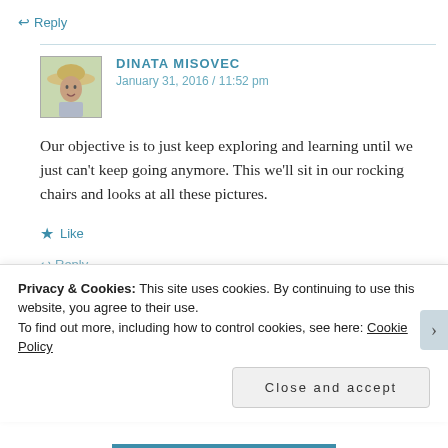↩ Reply
[Figure (photo): Avatar photo of a person wearing a wide-brimmed hat, outdoor setting]
DINATA MISOVEC
January 31, 2016 / 11:52 pm
Our objective is to just keep exploring and learning until we just can't keep going anymore. This we'll sit in our rocking chairs and looks at all these pictures.
★ Like
↩ Reply
Privacy & Cookies: This site uses cookies. By continuing to use this website, you agree to their use.
To find out more, including how to control cookies, see here: Cookie Policy
Close and accept